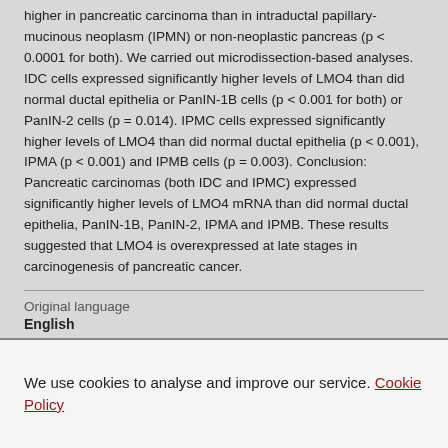higher in pancreatic carcinoma than in intraductal papillary-mucinous neoplasm (IPMN) or non-neoplastic pancreas (p < 0.0001 for both). We carried out microdissection-based analyses. IDC cells expressed significantly higher levels of LMO4 than did normal ductal epithelia or PanIN-1B cells (p < 0.001 for both) or PanIN-2 cells (p = 0.014). IPMC cells expressed significantly higher levels of LMO4 than did normal ductal epithelia (p < 0.001), IPMA (p < 0.001) and IPMB cells (p = 0.003). Conclusion: Pancreatic carcinomas (both IDC and IPMC) expressed significantly higher levels of LMO4 mRNA than did normal ductal epithelia, PanIN-1B, PanIN-2, IPMA and IPMB. These results suggested that LMO4 is overexpressed at late stages in carcinogenesis of pancreatic cancer.
Original language
English
We use cookies to analyse and improve our service. Cookie Policy